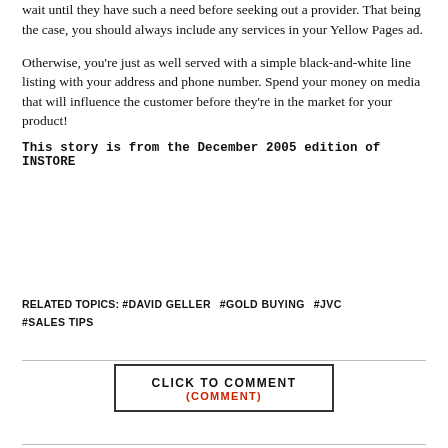wait until they have such a need before seeking out a provider. That being the case, you should always include any services in your Yellow Pages ad.
Otherwise, you're just as well served with a simple black-and-white line listing with your address and phone number. Spend your money on media that will influence the customer before they're in the market for your product!
This story is from the December 2005 edition of INSTORE
RELATED TOPICS: #DAVID GELLER #GOLD BUYING #JVC #SALES TIPS
CLICK TO COMMENT (COMMENT)